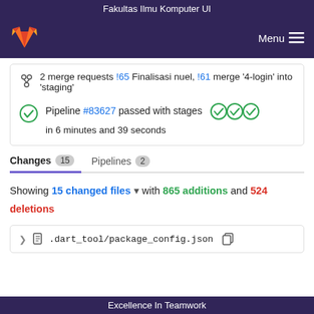Fakultas Ilmu Komputer UI
[Figure (logo): GitLab fox logo in orange/red]
Menu
2 merge requests !65 Finalisasi nuel, !61 merge '4-login' into 'staging'
Pipeline #83627 passed with stages in 6 minutes and 39 seconds
Changes 15  Pipelines 2
Showing 15 changed files with 865 additions and 524 deletions
.dart_tool/package_config.json
Excellence In Teamwork